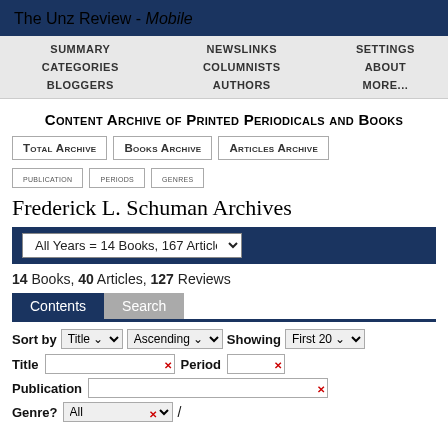The Unz Review - Mobile
SUMMARY | NEWSLINKS | SETTINGS | CATEGORIES | COLUMNISTS | ABOUT | BLOGGERS | AUTHORS | MORE...
Content Archive of Printed Periodicals and Books
Total Archive | Books Archive | Articles Archive
PUBLICATION | PERIODS | GENRES
Frederick L. Schuman Archives
All Years = 14 Books, 167 Articles
14 Books, 40 Articles, 127 Reviews
Contents | Search
Sort by Title Ascending Showing First 20
Title [input] Period [input]
Publication [input]
Genre? All /